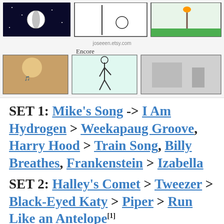[Figure (illustration): Comic-style illustration panels showing concert scenes including a soccer ball in space, stage banter scenes, and an Encore section with animated characters. Caption text below reads about Mike's Song and Tweezer containing BEK teases, and the Marco Esquandolas lyric change in Antelope.]
SET 1: Mike's Song -> I Am Hydrogen > Weekapaug Groove, Harry Hood > Train Song, Billy Breathes, Frankenstein > Izabella
SET 2: Halley's Comet > Tweezer > Black-Eyed Katy > Piper > Run Like an Antelope[1]
ENCORE: Bouncing Around the